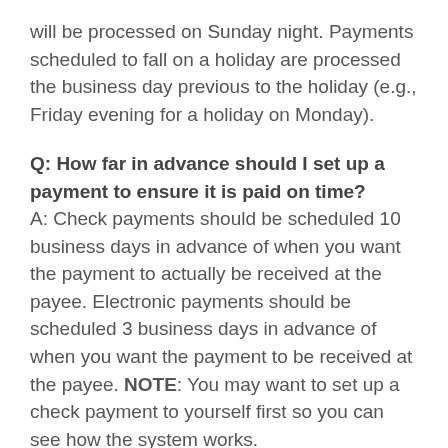will be processed on Sunday night. Payments scheduled to fall on a holiday are processed the business day previous to the holiday (e.g., Friday evening for a holiday on Monday).
Q: How far in advance should I set up a payment to ensure it is paid on time?
A: Check payments should be scheduled 10 business days in advance of when you want the payment to actually be received at the payee. Electronic payments should be scheduled 3 business days in advance of when you want the payment to be received at the payee. NOTE: You may want to set up a check payment to yourself first so you can see how the system works.
Q: How late in the day can I enter, edit, or delete a payment?
A: You may add payments scheduled Monday through Friday up until 12:00 Noon EST of the day the payment is